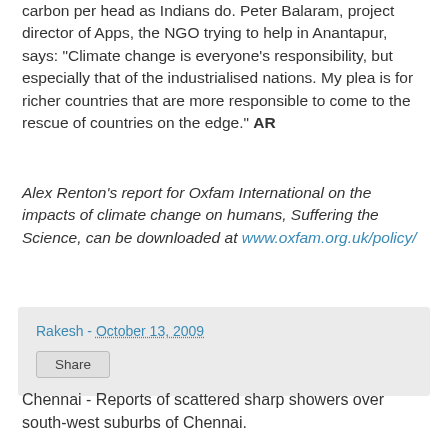carbon per head as Indians do. Peter Balaram, project director of Apps, the NGO trying to help in Anantapur, says: "Climate change is everyone's responsibility, but especially that of the industrialised nations. My plea is for richer countries that are more responsible to come to the rescue of countries on the edge." AR
Alex Renton's report for Oxfam International on the impacts of climate change on humans, Suffering the Science, can be downloaded at www.oxfam.org.uk/policy/
Rakesh - October 13, 2009
Share
Chennai - Reports of scattered sharp showers over south-west suburbs of Chennai.